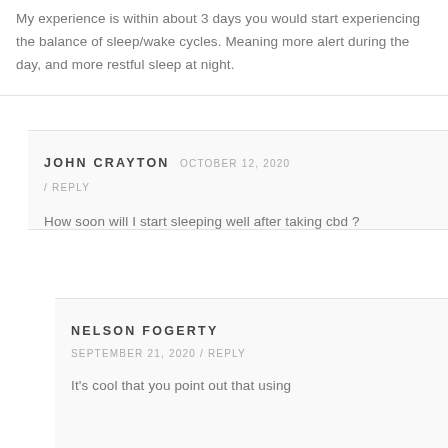My experience is within about 3 days you would start experiencing the balance of sleep/wake cycles. Meaning more alert during the day, and more restful sleep at night.
JOHN CRAYTON OCTOBER 12, 2020 / REPLY
How soon will I start sleeping well after taking cbd ?
NELSON FOGERTY SEPTEMBER 21, 2020 / REPLY
It's cool that you point out that using